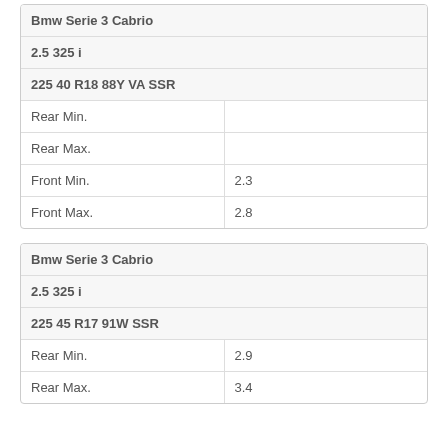| Bmw Serie 3 Cabrio |  |
| 2.5 325 i |  |
| 225 40 R18 88Y VA SSR |  |
| Rear Min. |  |
| Rear Max. |  |
| Front Min. | 2.3 |
| Front Max. | 2.8 |
| Bmw Serie 3 Cabrio |  |
| 2.5 325 i |  |
| 225 45 R17 91W SSR |  |
| Rear Min. | 2.9 |
| Rear Max. | 3.4 |